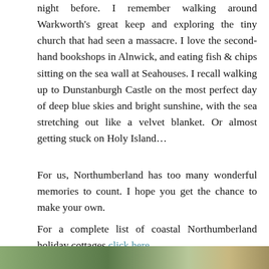night before. I remember walking around Warkworth's great keep and exploring the tiny church that had seen a massacre. I love the second-hand bookshops in Alnwick, and eating fish & chips sitting on the sea wall at Seahouses. I recall walking up to Dunstanburgh Castle on the most perfect day of deep blue skies and bright sunshine, with the sea stretching out like a velvet blanket. Or almost getting stuck on Holy Island...
For us, Northumberland has too many wonderful memories to count. I hope you get the chance to make your own.
For a complete list of coastal Northumberland holiday cottages click here.
[Figure (photo): Partial photo strip at bottom of page showing outdoor/nature scenery]